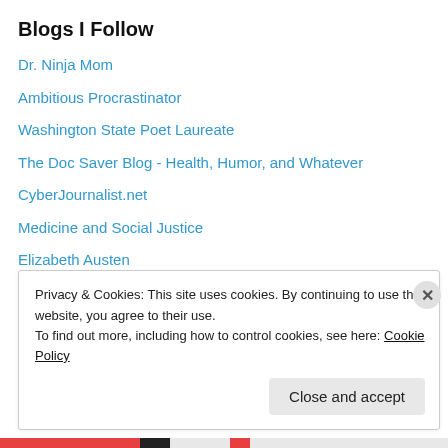Blogs I Follow
Dr. Ninja Mom
Ambitious Procrastinator
Washington State Poet Laureate
The Doc Saver Blog - Health, Humor, and Whatever
CyberJournalist.net
Medicine and Social Justice
Elizabeth Austen
HealthCetera
Nomadic GP
JOSEPHINE ENSIGN
Privacy & Cookies: This site uses cookies. By continuing to use this website, you agree to their use. To find out more, including how to control cookies, see here: Cookie Policy
Close and accept